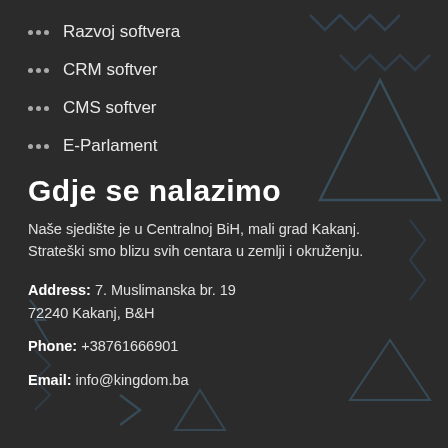Razvoj softvera
CRM softver
CMS softver
E-Parlament
Gdje se nalazimo
Naše sjedište je u Centralnoj BiH, mali grad Kakanj. Strateški smo blizu svih centara u zemlji i okruženju.
Address: 7. Muslimanska br. 19
72240 Kakanj, B&H
Phone: +38761666901
Email: info@kingdom.ba